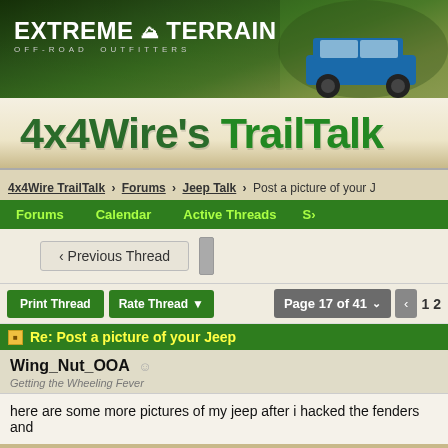[Figure (photo): ExtremeTerrain Off-Road Outfitters banner with logo on left and blue Jeep Wrangler on the right against a forest background]
4x4Wire's TrailTalk
4x4Wire TrailTalk > Forums > Jeep Talk > Post a picture of your Jeep
Forums  Calendar  Active Threads  S...
< Previous Thread
Print Thread  Rate Thread ▼   Page 17 of 41 ∨   < 1 2
Re: Post a picture of your Jeep
Wing_Nut_OOA
Getting the Wheeling Fever
here are some more pictures of my jeep after i hacked the fenders and...